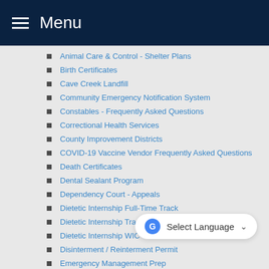Menu
Animal Care & Control - Shelter Plans
Birth Certificates
Cave Creek Landfill
Community Emergency Notification System
Constables - Frequently Asked Questions
Correctional Health Services
County Improvement Districts
COVID-19 Vaccine Vendor Frequently Asked Questions
Death Certificates
Dental Sealant Program
Dependency Court - Appeals
Dietetic Internship Full-Time Track
Dietetic Internship Tracks
Dietetic Internship WIC Track
Disinterment / Reinterment Permit
Emergency Management Prep...
Family Support
Fetal Death Certificates
Fetal Death Permit
Flood Control - Flood Insurance